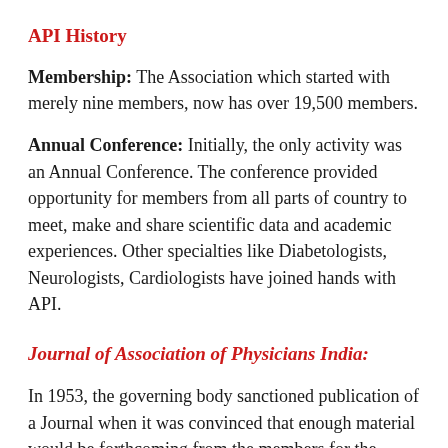API History
Membership: The Association which started with merely nine members, now has over 19,500 members.
Annual Conference: Initially, the only activity was an Annual Conference. The conference provided opportunity for members from all parts of country to meet, make and share scientific data and academic experiences. Other specialties like Diabetologists, Neurologists, Cardiologists have joined hands with API.
Journal of Association of Physicians India:
In 1953, the governing body sanctioned publication of a Journal when it was convinced that enough material would be forthcoming from the members for the regular publication of a Journal. The official scientific publication of the Association, JAPI was started under the dynamic